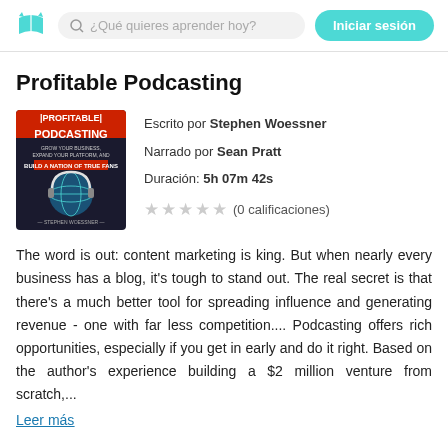¿Qué quieres aprender hoy?   Iniciar sesión
Profitable Podcasting
[Figure (illustration): Book cover for Profitable Podcasting by Stephen Woessner showing a globe with headphones on a red and black background]
Escrito por Stephen Woessner
Narrado por Sean Pratt
Duración: 5h 07m 42s
(0 calificaciones)
The word is out: content marketing is king. But when nearly every business has a blog, it's tough to stand out. The real secret is that there's a much better tool for spreading influence and generating revenue - one with far less competition.... Podcasting offers rich opportunities, especially if you get in early and do it right. Based on the author's experience building a $2 million venture from scratch,...
Leer más